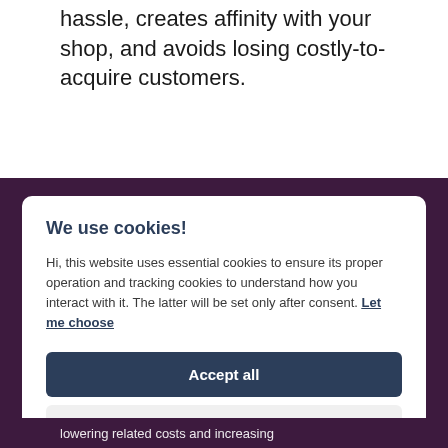hassle, creates affinity with your shop, and avoids losing costly-to-acquire customers.
We use cookies!
Hi, this website uses essential cookies to ensure its proper operation and tracking cookies to understand how you interact with it. The latter will be set only after consent. Let me choose
Accept all
Reject all
lowering related costs and increasing